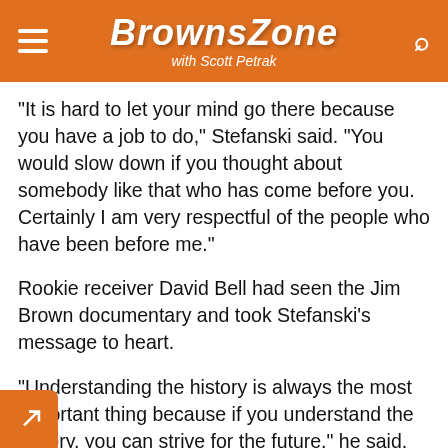BrownsZone with Scott Petrak
“It is hard to let your mind go there because you have a job to do,” Stefanski said. “You would slow down if you thought about somebody like that who has come before you. Certainly I am very respectful of the people who have been before me.”
Rookie receiver David Bell had seen the Jim Brown documentary and took Stefanski’s message to heart.
“Understanding the history is always the most important thing because if you understand the history, you can strive for the future,” he said. “That’s what we’re trying to do right now. We always respect the people that played before us and give those people those flowers and those roses. We definitely